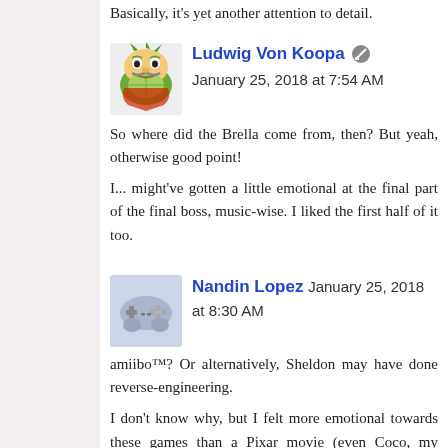Basically, it's yet another attention to detail.
[Figure (illustration): Avatar of Ludwig Von Koopa character - cartoon frog/koopa with mustache]
Ludwig Von Koopa  January 25, 2018 at 7:54 AM
So where did the Brella come from, then? But yeah, otherwise good point!
I... might've gotten a little emotional at the final part of the final boss, music-wise. I liked the first half of it too.
[Figure (illustration): Avatar of Nandin Lopez - grey controller/gamepad icon on light blue background]
Nandin Lopez  January 25, 2018 at 8:30 AM
amiibo™? Or alternatively, Sheldon may have done reverse-engineering.
I don't know why, but I felt more emotional towards these games than a Pixar movie (even Coco, my favorite so far). I talked with a friend, and we both agreed that the music was the best part, but of course, what more could one expect